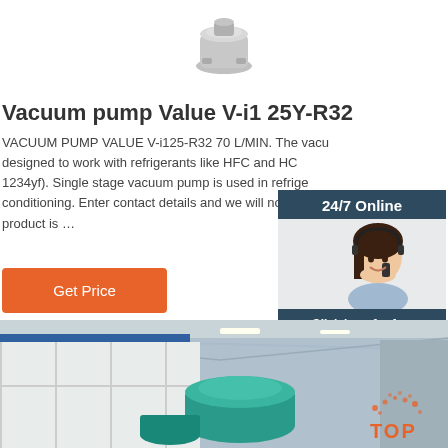[Figure (photo): Vacuum pump product image - small stainless steel pump canister shown from above]
Vacuum pump Value V-i125Y-R32
VACUUM PUMP VALUE V-i125-R32 70 L/MIN. The vacu designed to work with refrigerants like HFC and HC 1234yf). Single stage vacuum pump is used in refrige conditioning. Enter contact details and we will notif product is …
[Figure (photo): 24/7 Online chat widget with female customer service agent wearing headset, smiling. Button: Click here for free chat! QUOTATION]
Get Price
[Figure (photo): Industrial warehouse interior photograph showing ceiling structure with blue beam, equipment including a large teal/green cylindrical vessel, and orange TOP logo overlay]